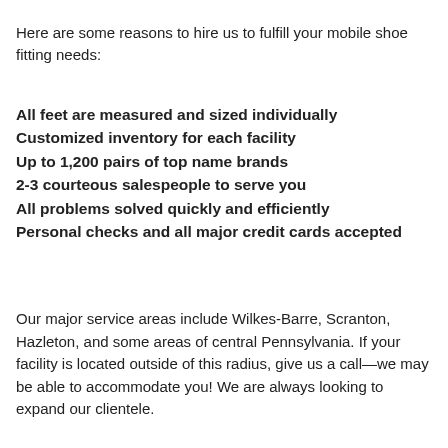…y … y …
Here are some reasons to hire us to fulfill your mobile shoe fitting needs:
All feet are measured and sized individually
Customized inventory for each facility
Up to 1,200 pairs of top name brands
2-3 courteous salespeople to serve you
All problems solved quickly and efficiently
Personal checks and all major credit cards accepted
Our major service areas include Wilkes-Barre, Scranton, Hazleton, and some areas of central Pennsylvania. If your facility is located outside of this radius, give us a call—we may be able to accommodate you! We are always looking to expand our clientele.